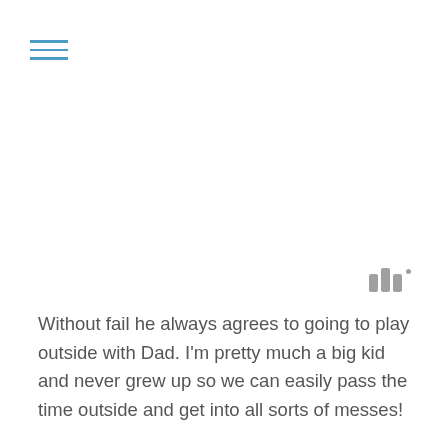[Figure (other): Three horizontal blue lines forming a hamburger/menu icon]
[Figure (other): Three vertical grey bars of varying heights with a small dot, resembling a quote or audio icon]
Without fail he always agrees to going to play outside with Dad. I'm pretty much a big kid and never grew up so we can easily pass the time outside and get into all sorts of messes!